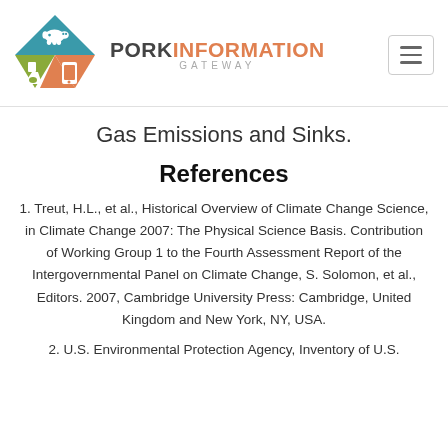[Figure (logo): Pork Information Gateway logo with triangular pig/phone/flask icons and text reading PORK INFORMATION GATEWAY]
Gas Emissions and Sinks.
References
1. Treut, H.L., et al., Historical Overview of Climate Change Science, in Climate Change 2007: The Physical Science Basis. Contribution of Working Group 1 to the Fourth Assessment Report of the Intergovernmental Panel on Climate Change, S. Solomon, et al., Editors. 2007, Cambridge University Press: Cambridge, United Kingdom and New York, NY, USA.
2. U.S. Environmental Protection Agency, Inventory of U.S.